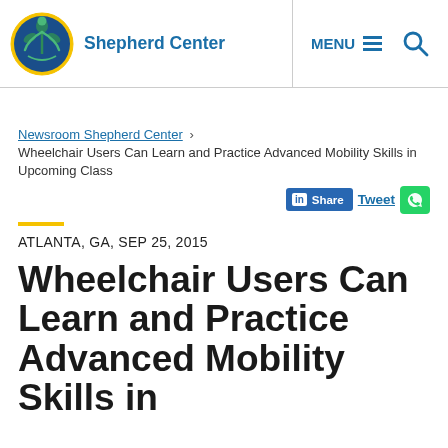[Figure (logo): Shepherd Center logo: circular badge with blue and green colors, stylized figure with hands. Text 'Shepherd Center' in blue.]
MENU  🔍
Newsroom Shepherd Center › Wheelchair Users Can Learn and Practice Advanced Mobility Skills in Upcoming Class
ATLANTA, GA, SEP 25, 2015
Wheelchair Users Can Learn and Practice Advanced Mobility Skills in